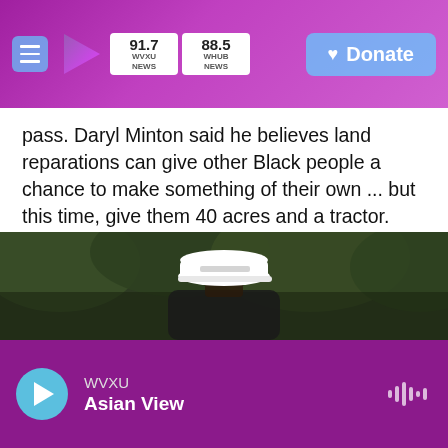WVXU 91.7 NEWS | WHUB 88.5 NEWS | Donate
pass. Daryl Minton said he believes land reparations can give other Black people a chance to make something of their own ... but this time, give them 40 acres and a tractor.
"It wouldn't make it right, but it would just definitely even the playing field," Daryl said. "Give people a hand up, it's not like you're giving them tools to destroy the country. You're actually giving them tools to help build the country."
[Figure (photo): Photo of a person wearing a white cap outdoors with green foliage in the background]
WVXU | Asian View